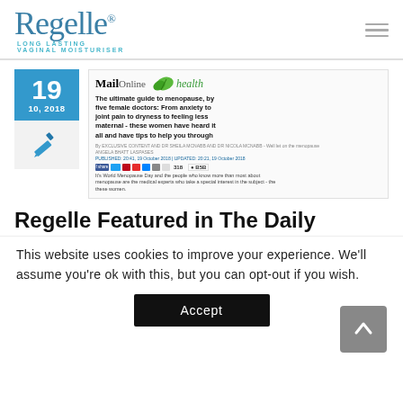Regelle® LONG LASTING VAGINAL MOISTURISER
[Figure (screenshot): Article card with date badge showing 19 / 10, 2018 and thumbnail screenshot of Mail Online Health article titled 'The ultimate guide to menopause, by five female doctors: From anxiety to joint pain to dryness to feeling less maternal - these women have heard it all and have tips to help you through']
Regelle Featured in The Daily
This website uses cookies to improve your experience. We'll assume you're ok with this, but you can opt-out if you wish.
Accept